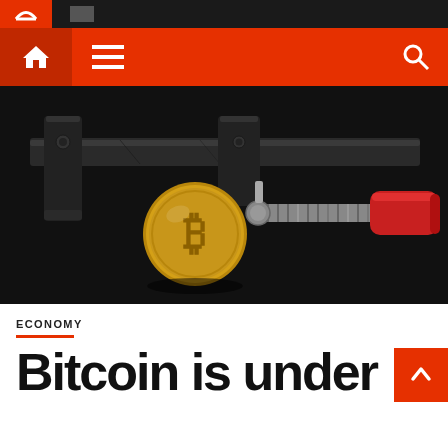Navigation bar with home icon, menu icon, and search icon on orange background
[Figure (photo): A metal C-clamp/bar clamp squeezing a gold Bitcoin coin against a dark background. The clamp has a red handle and metal screw mechanism. The Bitcoin coin shows the B symbol.]
ECONOMY
Bitcoin is under